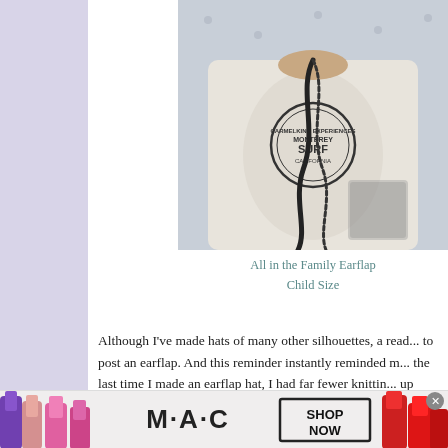[Figure (photo): Photo of a child wearing a white Monterey Surf t-shirt with a braided cord/string hanging down, photographed from chin to waist]
All in the Family Earflap Child Size
Although I've made hats of many other silhouettes, a read... to post an earflap. And this reminder instantly reminded m... the last time I made an earflap hat, I had far fewer knittin... up having to cobble together a hat, some flaps, and some...
[Figure (photo): Advertisement banner showing MAC cosmetics lipsticks in purple, pink, and red colors with MAC logo and 'SHOP NOW' button]